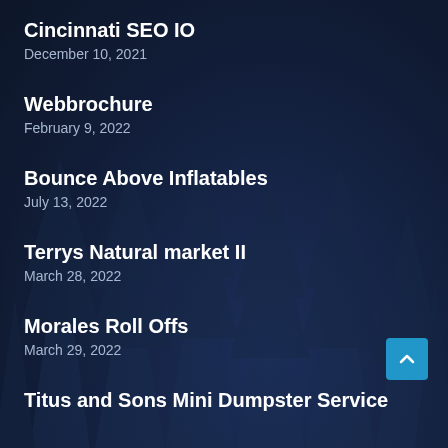Cincinnati SEO IO
December 10, 2021
Webbrochure
February 9, 2022
Bounce Above Inflatables
July 13, 2022
Terrys Natural market II
March 28, 2022
Morales Roll Offs
March 29, 2022
[Figure (illustration): Dark navy background with pine tree silhouettes at the bottom of the page]
Titus and Sons Mini Dumpster Service